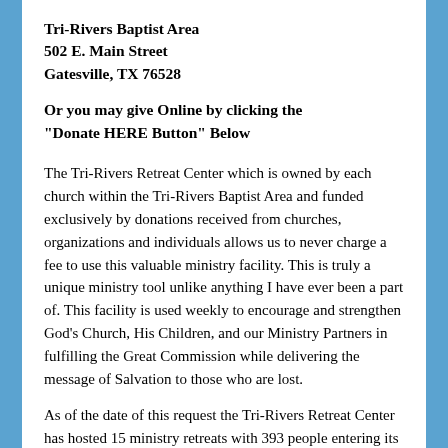Tri-Rivers Baptist Area
502 E. Main Street
Gatesville, TX 76528
Or you may give Online by clicking the "Donate HERE Button" Below
The Tri-Rivers Retreat Center which is owned by each church within the Tri-Rivers Baptist Area and funded exclusively by donations received from churches, organizations and individuals allows us to never charge a fee to use this valuable ministry facility. This is truly a unique ministry tool unlike anything I have ever been a part of. This facility is used weekly to encourage and strengthen God’s Church, His Children, and our Ministry Partners in fulfilling the Great Commission while delivering the message of Salvation to those who are lost.
As of the date of this request the Tri-Rivers Retreat Center has hosted 15 ministry retreats with 393 people entering its gates to Encounter Christ without the